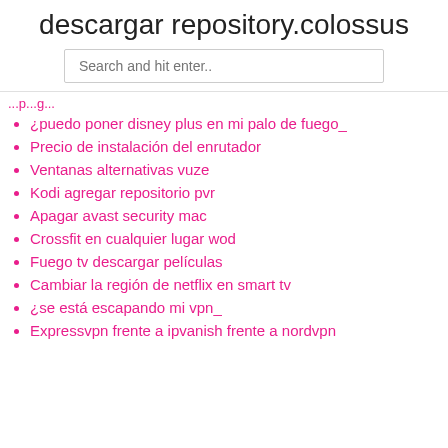descargar repository.colossus
Search and hit enter..
¿puedo poner disney plus en mi palo de fuego_
Precio de instalación del enrutador
Ventanas alternativas vuze
Kodi agregar repositorio pvr
Apagar avast security mac
Crossfit en cualquier lugar wod
Fuego tv descargar películas
Cambiar la región de netflix en smart tv
¿se está escapando mi vpn_
Expressvpn frente a ipvanish frente a nordvpn